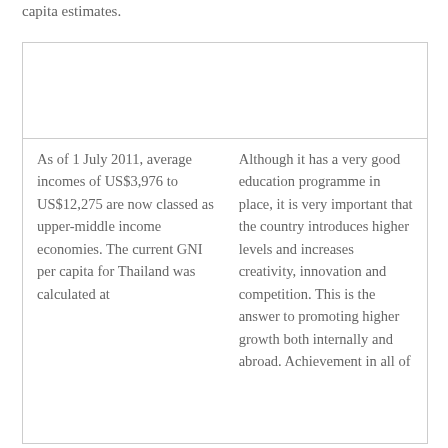capita estimates.
As of 1 July 2011, average incomes of US$3,976 to US$12,275 are now classed as upper-middle income economies. The current GNI per capita for Thailand was calculated at
Although it has a very good education programme in place, it is very important that the country introduces higher levels and increases creativity, innovation and competition. This is the answer to promoting higher growth both internally and abroad. Achievement in all of